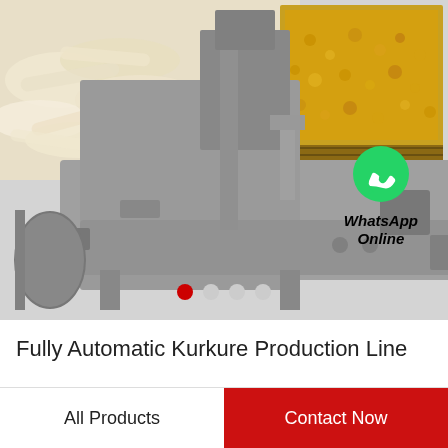[Figure (photo): Composite image showing a fully automatic Kurkure production line machine (extruder/screw press, gray industrial equipment with motor), with inset photos of extruded puffed snacks and fried/coated snack pieces on a conveyor tray. A WhatsApp icon and 'WhatsApp Online' label are overlaid on the image. Carousel navigation dots appear at the bottom of the image area.]
Fully Automatic Kurkure Production Line
All Products
Contact Now